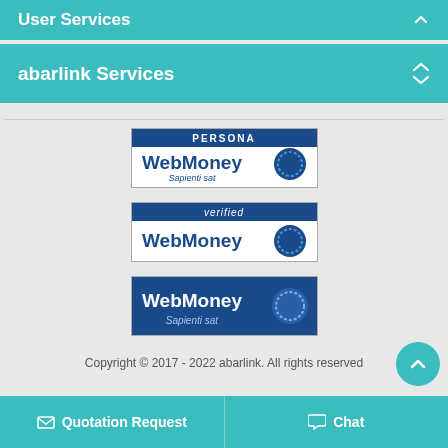User Services
abarlink Services
[Figure (logo): PERSONA WebMoney Sapienti sat badge logo]
[Figure (logo): verified WebMoney badge logo]
[Figure (logo): WebMoney Sapienti sat badge logo]
Copyright © 2017 - 2022 abarlink. All rights reserved
Quotation Request
Chat